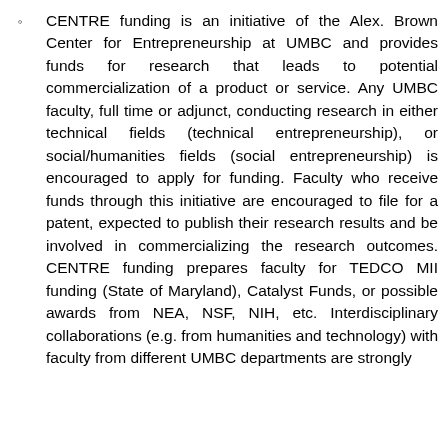CENTRE funding is an initiative of the Alex. Brown Center for Entrepreneurship at UMBC and provides funds for research that leads to potential commercialization of a product or service. Any UMBC faculty, full time or adjunct, conducting research in either technical fields (technical entrepreneurship), or social/humanities fields (social entrepreneurship) is encouraged to apply for funding. Faculty who receive funds through this initiative are encouraged to file for a patent, expected to publish their research results and be involved in commercializing the research outcomes. CENTRE funding prepares faculty for TEDCO MII funding (State of Maryland), Catalyst Funds, or possible awards from NEA, NSF, NIH, etc. Interdisciplinary collaborations (e.g. from humanities and technology) with faculty from different UMBC departments are strongly